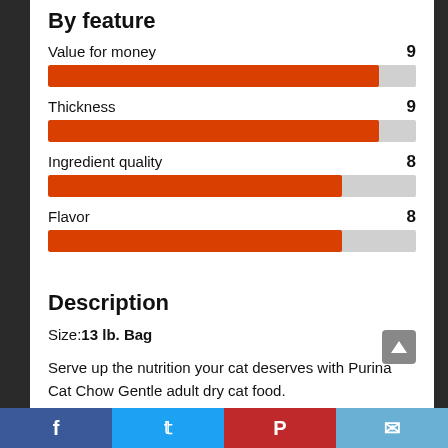By feature
[Figure (bar-chart): By feature]
Description
Size:13 lb. Bag
Serve up the nutrition your cat deserves with Purina Cat Chow Gentle adult dry cat food.